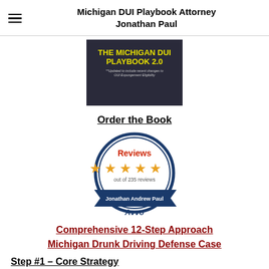Michigan DUI Playbook Attorney Jonathan Paul
[Figure (illustration): Book cover for 'The Michigan DUI Playbook 2.0' with yellow title text on dark background. Subtitle: Updated to include recent changes to OUI Expungement Eligibility]
Order the Book
[Figure (logo): Avvo Reviews badge showing 5 stars out of 235 reviews for Jonathan Andrew Paul]
Comprehensive 12-Step Approach Michigan Drunk Driving Defense Case
Step #1 – Core Strategy